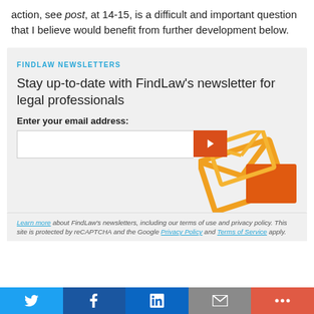action, see post, at 14-15, is a difficult and important question that I believe would benefit from further development below.
FINDLAW NEWSLETTERS
Stay up-to-date with FindLaw's newsletter for legal professionals
Enter your email address:
[Figure (illustration): Orange envelope graphic decoration on right side of newsletter signup box]
Learn more about FindLaw's newsletters, including our terms of use and privacy policy. This site is protected by reCAPTCHA and the Google Privacy Policy and Terms of Service apply.
Twitter | Facebook | LinkedIn | Email | More